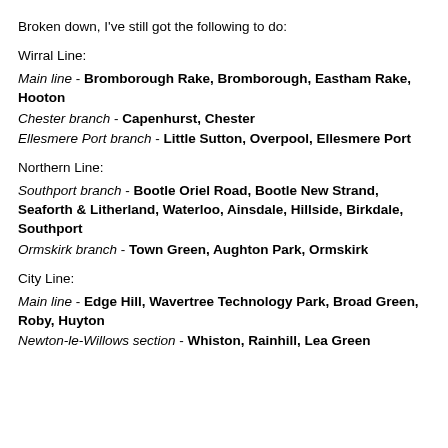Broken down, I've still got the following to do:
Wirral Line:
Main line - Bromborough Rake, Bromborough, Eastham Rake, Hooton
Chester branch - Capenhurst, Chester
Ellesmere Port branch - Little Sutton, Overpool, Ellesmere Port
Northern Line:
Southport branch - Bootle Oriel Road, Bootle New Strand, Seaforth & Litherland, Waterloo, Ainsdale, Hillside, Birkdale, Southport
Ormskirk branch - Town Green, Aughton Park, Ormskirk
City Line:
Main line - Edge Hill, Wavertree Technology Park, Broad Green, Roby, Huyton
Newton-le-Willows section - Whiston, Rainhill, Lea Green